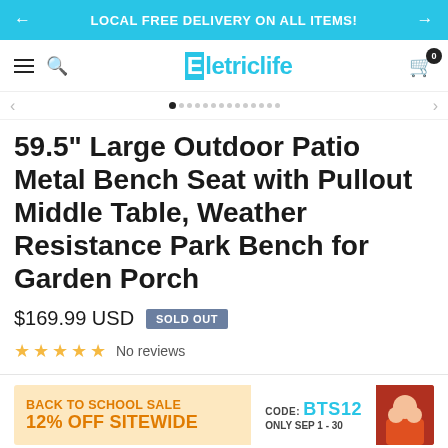LOCAL FREE DELIVERY ON ALL ITEMS!
[Figure (logo): Eletriclife logo with cyan E box and navigation icons]
59.5" Large Outdoor Patio Metal Bench Seat with Pullout Middle Table, Weather Resistance Park Bench for Garden Porch
$169.99 USD   SOLD OUT
★★★★★ No reviews
[Figure (infographic): Back to School Sale banner: 12% OFF SITEWIDE, CODE: BTS12, ONLY SEP 1-30]